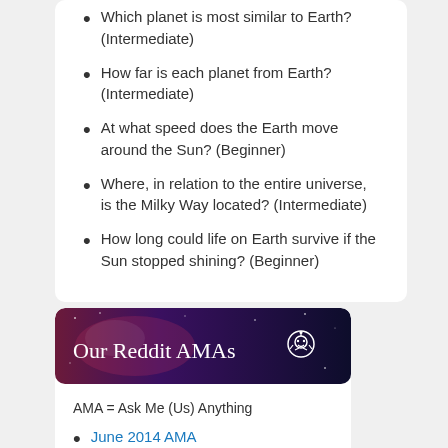Which planet is most similar to Earth? (Intermediate)
How far is each planet from Earth? (Intermediate)
At what speed does the Earth move around the Sun? (Beginner)
Where, in relation to the entire universe, is the Milky Way located? (Intermediate)
How long could life on Earth survive if the Sun stopped shining? (Beginner)
[Figure (illustration): Dark space/galaxy banner with text 'Our Reddit AMAs' and Reddit alien logo]
AMA = Ask Me (Us) Anything
June 2014 AMA